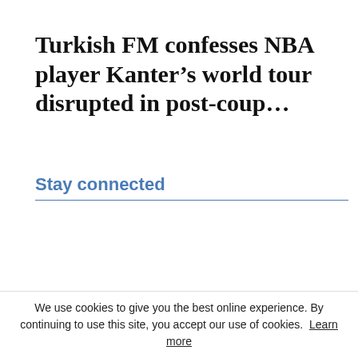Turkish FM confesses NBA player Kanter’s world tour disrupted in post-coup…
Stay connected
[Figure (other): Facebook social widget bar showing 2,144 Fans with a LIKE button]
We use cookies to give you the best online experience. By continuing to use this site, you accept our use of cookies. Learn more
Accept